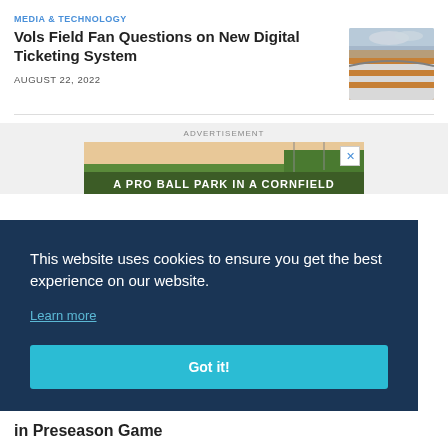MEDIA & TECHNOLOGY
Vols Field Fan Questions on New Digital Ticketing System
[Figure (photo): Aerial view of a football stadium with orange and white checkered pattern seating]
AUGUST 22, 2022
ADVERTISEMENT
[Figure (photo): Advertisement banner showing a green field landscape with text 'A PRO BALL PARK IN A CORNFIELD']
This website uses cookies to ensure you get the best experience on our website.
Learn more
Got it!
in Preseason Game